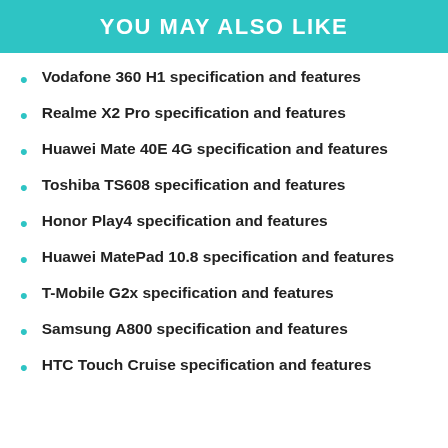YOU MAY ALSO LIKE
Vodafone 360 H1 specification and features
Realme X2 Pro specification and features
Huawei Mate 40E 4G specification and features
Toshiba TS608 specification and features
Honor Play4 specification and features
Huawei MatePad 10.8 specification and features
T-Mobile G2x specification and features
Samsung A800 specification and features
HTC Touch Cruise specification and features